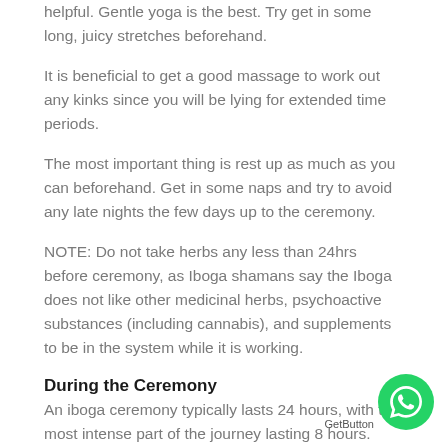helpful. Gentle yoga is the best. Try get in some long, juicy stretches beforehand.
It is beneficial to get a good massage to work out any kinks since you will be lying for extended time periods.
The most important thing is rest up as much as you can beforehand. Get in some naps and try to avoid any late nights the few days up to the ceremony.
NOTE: Do not take herbs any less than 24hrs before ceremony, as Iboga shamans say the Iboga does not like other medicinal herbs, psychoactive substances (including cannabis), and supplements to be in the system while it is working.
During the Ceremony
An iboga ceremony typically lasts 24 hours, with the most intense part of the journey lasting 8 hours. Some people may not be able to fall asleep up to 48